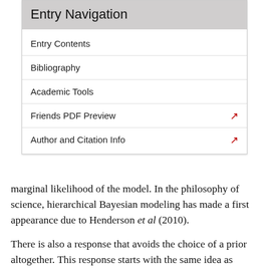Entry Navigation
Entry Contents
Bibliography
Academic Tools
Friends PDF Preview
Author and Citation Info
marginal likelihood of the model. In the philosophy of science, hierarchical Bayesian modeling has made a first appearance due to Henderson et al (2010).
There is also a response that avoids the choice of a prior altogether. This response starts with the same idea as hierarchical models: rather than considering a single prior over the hypotheses in the model, we consider a parameterized set of them. But instead of defining a distribution over this set, proponents of interval-valued or imprecise probability claim that our epistemic state